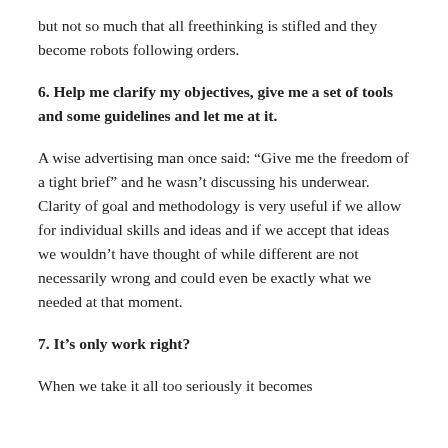but not so much that all freethinking is stifled and they become robots following orders.
6. Help me clarify my objectives, give me a set of tools and some guidelines and let me at it.
A wise advertising man once said: “Give me the freedom of a tight brief” and he wasn’t discussing his underwear. Clarity of goal and methodology is very useful if we allow for individual skills and ideas and if we accept that ideas we wouldn’t have thought of while different are not necessarily wrong and could even be exactly what we needed at that moment.
7. It’s only work right?
When we take it all too seriously it becomes